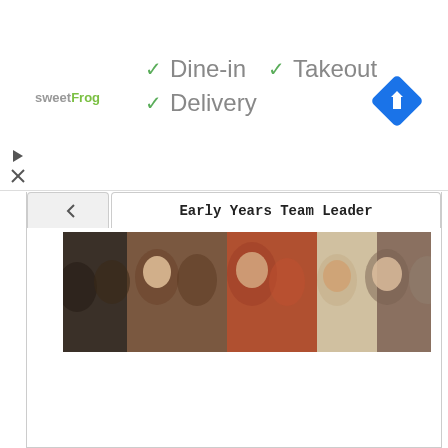[Figure (logo): sweetFrog logo in pink and green text]
✓ Dine-in   ✓ Takeout
✓ Delivery
[Figure (logo): Blue diamond navigation/directions icon with white arrow]
[Figure (other): Play button icon]
[Figure (other): Close/X button icon]
Early Years Team Leader
[Figure (photo): Banner photo collage showing multiple smiling children in a classroom setting]